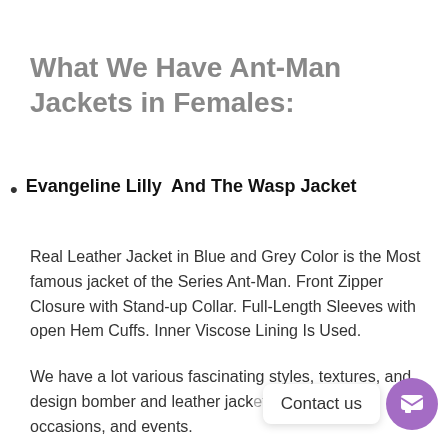What We Have Ant-Man Jackets in Females:
Evangeline Lilly  And The Wasp Jacket
Real Leather Jacket in Blue and Grey Color is the Most famous jacket of the Series Ant-Man. Front Zipper Closure with Stand-up Collar. Full-Length Sleeves with open Hem Cuffs. Inner Viscose Lining Is Used.
We have a lot various fascinating styles, textures, and design bomber and leather jack[et]s w[hich are suitable for] all festivals, occasions, and events.